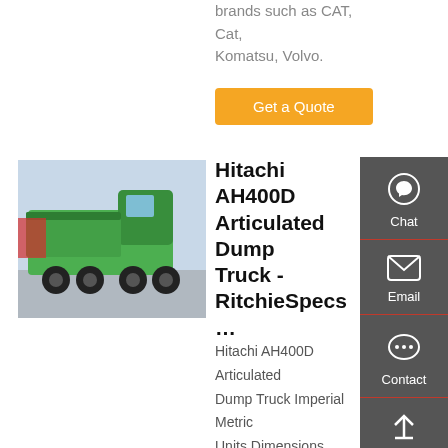brands such as CAT, Cat, Komatsu, Volvo.
Get a Quote
[Figure (photo): Green Hitachi articulated dump truck parked outdoors]
Hitachi AH400D Articulated Dump Truck - RitchieSpecs …
Hitachi AH400D Articulated Dump Truck Imperial Metric Units Dimensions Dimensions Overall Length 34.54 ft in B Overall Width 11.02 ft in C Overall Height 23.71 ft in D Wheelbase 11.31 ft in E Ground